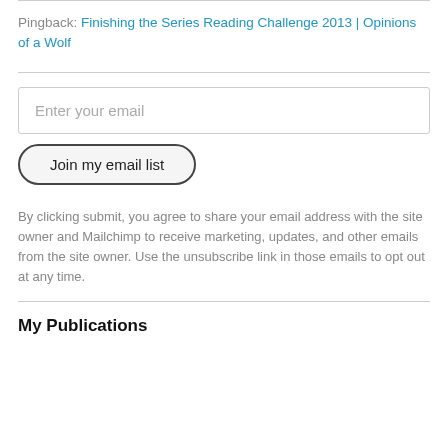Pingback: Finishing the Series Reading Challenge 2013 | Opinions of a Wolf
Enter your email
Join my email list
By clicking submit, you agree to share your email address with the site owner and Mailchimp to receive marketing, updates, and other emails from the site owner. Use the unsubscribe link in those emails to opt out at any time.
My Publications